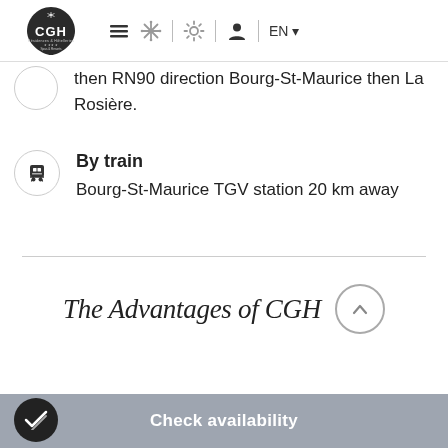[Figure (logo): CGH Résidences & Spas logo — black teardrop/shield shape with snowflake and 'CGH' text]
then RN90 direction Bourg-St-Maurice then La Rosière.
By train
Bourg-St-Maurice TGV station 20 km away
The Advantages of CGH
Check availability